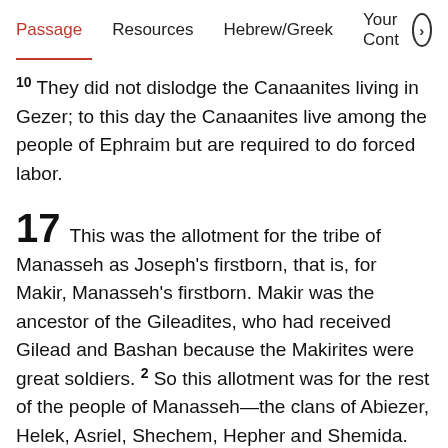Passage  Resources  Hebrew/Greek  Your Cont›
10 They did not dislodge the Canaanites living in Gezer; to this day the Canaanites live among the people of Ephraim but are required to do forced labor.
17 This was the allotment for the tribe of Manasseh as Joseph's firstborn, that is, for Makir, Manasseh's firstborn. Makir was the ancestor of the Gileadites, who had received Gilead and Bashan because the Makirites were great soldiers. 2 So this allotment was for the rest of the people of Manasseh—the clans of Abiezer, Helek, Asriel, Shechem, Hepher and Shemida. These are the other male descendants of Manasseh son of Joseph by their clans.
3 Now Zelophehad son of Hepher, the son of